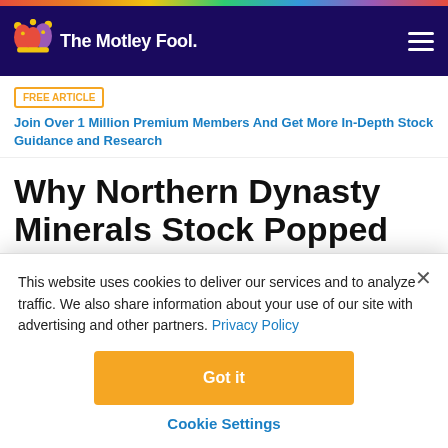The Motley Fool
FREE ARTICLE  Join Over 1 Million Premium Members And Get More In-Depth Stock Guidance and Research
Why Northern Dynasty Minerals Stock Popped 12% This Morning
This website uses cookies to deliver our services and to analyze traffic. We also share information about your use of our site with advertising and other partners. Privacy Policy
Got it
Cookie Settings